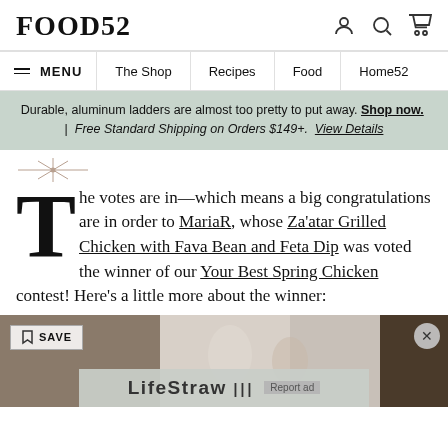FOOD52
MENU | The Shop | Recipes | Food | Home52
Durable, aluminum ladders are almost too pretty to put away. Shop now. | Free Standard Shipping on Orders $149+. View Details
The votes are in—which means a big congratulations are in order to MariaR, whose Za’atar Grilled Chicken with Fava Bean and Feta Dip was voted the winner of our Your Best Spring Chicken contest! Here’s a little more about the winner:
[Figure (photo): Food photo strip with a Save button overlay and a LifeStraw advertisement overlay at the bottom]
LifeStraw